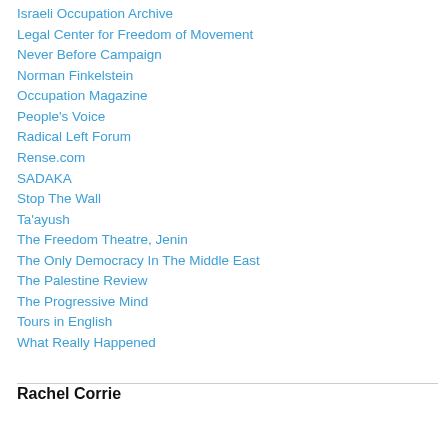Israeli Occupation Archive
Legal Center for Freedom of Movement
Never Before Campaign
Norman Finkelstein
Occupation Magazine
People's Voice
Radical Left Forum
Rense.com
SADAKA
Stop The Wall
Ta'ayush
The Freedom Theatre, Jenin
The Only Democracy In The Middle East
The Palestine Review
The Progressive Mind
Tours in English
What Really Happened
Rachel Corrie